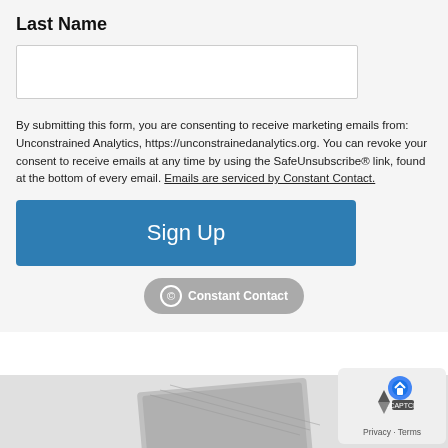Last Name
By submitting this form, you are consenting to receive marketing emails from: Unconstrained Analytics, https://unconstrainedanalytics.org. You can revoke your consent to receive emails at any time by using the SafeUnsubscribe® link, found at the bottom of every email. Emails are serviced by Constant Contact.
[Figure (other): Blue Sign Up button]
[Figure (logo): Constant Contact badge/logo in gray rounded pill]
[Figure (photo): Partial photo of a patterned book or product at the bottom of the page]
[Figure (other): Privacy and reCAPTCHA overlay widget in bottom-right corner with shield icon and Privacy · Terms links]